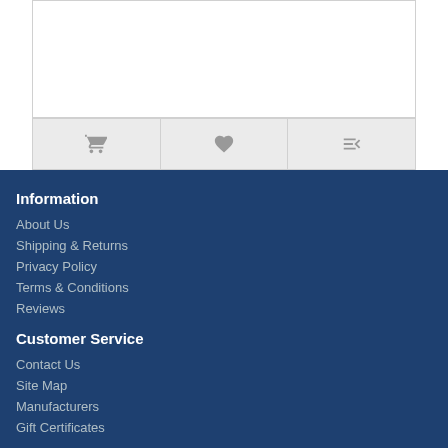[Figure (other): Product card box with white background and border]
[Figure (other): Action bar with three buttons: shopping cart, heart/wishlist, and compare icons]
Information
About Us
Shipping & Returns
Privacy Policy
Terms & Conditions
Reviews
Customer Service
Contact Us
Site Map
Manufacturers
Gift Certificates